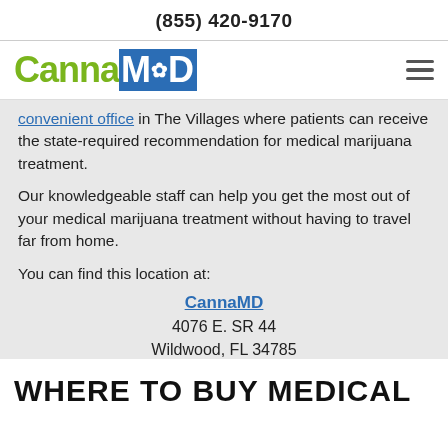(855) 420-9170
[Figure (logo): CannaMD logo with green 'Canna' text and blue 'MD' box with cannabis leaf icon]
convenient office in The Villages where patients can receive the state-required recommendation for medical marijuana treatment.
Our knowledgeable staff can help you get the most out of your medical marijuana treatment without having to travel far from home.
You can find this location at:
CannaMD
4076 E. SR 44
Wildwood, FL 34785
WHERE TO BUY MEDICAL